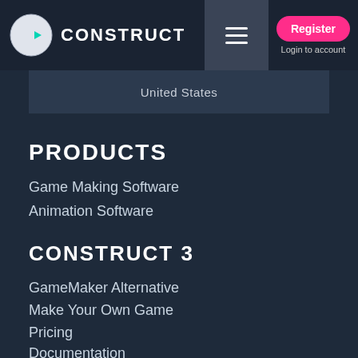CONSTRUCT
United States
PRODUCTS
Game Making Software
Animation Software
CONSTRUCT 3
GameMaker Alternative
Make Your Own Game
Pricing
Documentation